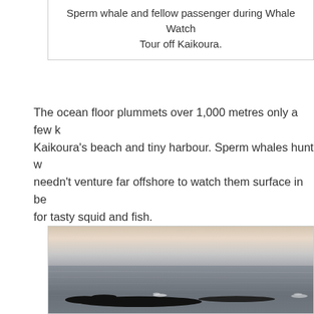Sperm whale and fellow passenger during Whale Watch Tour off Kaikoura.
The ocean floor plummets over 1,000 metres only a few kilometres from Kaikoura's beach and tiny harbour. Sperm whales hunt w... needn't venture far offshore to watch them surface in between dives for tasty squid and fish.
[Figure (photo): Photo of a sperm whale surfacing in the ocean near Kaikoura, with calm choppy grey-blue sea and a pale evening sky in the background. The whale's dark body is visible at the surface with a small splash/spray visible.]